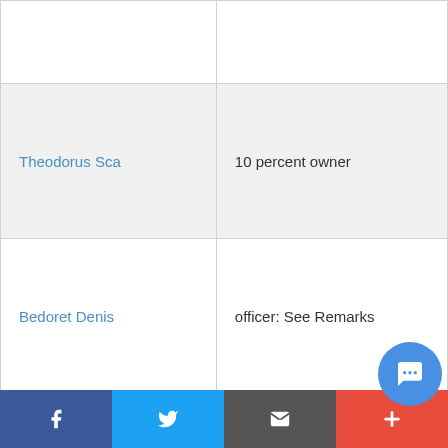| Name | Role |
| --- | --- |
|  |  |
| Theodorus Sca | 10 percent owner |
| Bedoret Denis | officer: See Remarks |
| Nanda Ashish | director |